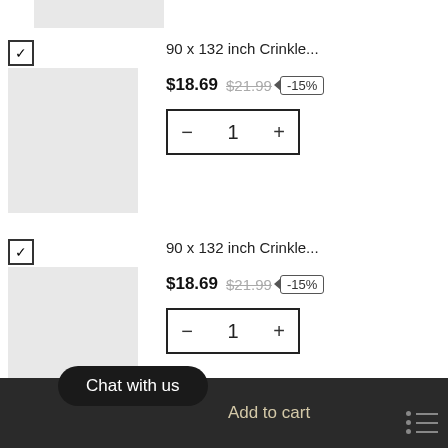[Figure (photo): Partial gray product image strip at top]
90 x 132 inch Crinkle... $18.69 $21.99 -15% Quantity: 1
90 x 132 inch Crinkle... $18.69 $21.99 -15% Quantity: 1
Total: $90.96 $76.76
Chat with us
Add to cart